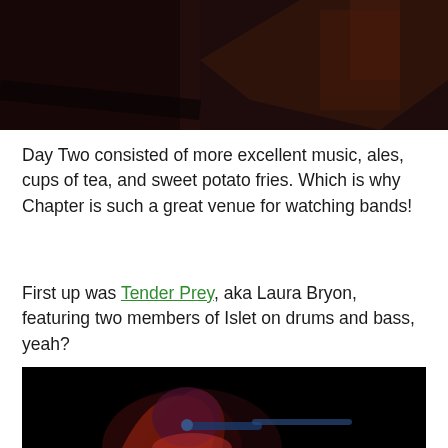[Figure (photo): Dark concert photo showing dimly lit stage with reddish and brown hues, top portion of page]
Day Two consisted of more excellent music, ales, cups of tea, and sweet potato fries. Which is why Chapter is such a great venue for watching bands!
First up was Tender Prey, aka Laura Bryon, featuring two members of Islet on drums and bass, yeah?
[Figure (photo): Concert photo of a female singer with long reddish hair performing at a microphone, blue and red stage lighting against a black background]